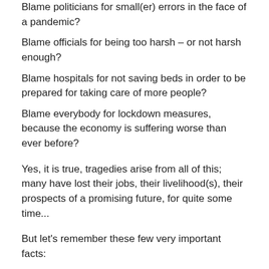Blame politicians for small(er) errors in the face of a pandemic?
Blame officials for being too harsh – or not harsh enough?
Blame hospitals for not saving beds in order to be prepared for taking care of more people?
Blame everybody for lockdown measures, because the economy is suffering worse than ever before?
Yes, it is true, tragedies arise from all of this; many have lost their jobs, their livelihood(s), their prospects of a promising future, for quite some time...
But let's remember these few very important facts:
the lockdowns are about people being kept alive!
the economy suffers always, in pandemic times!
in ancient and medieval times any pandemic plague wave was so much more worse at every turn!
dead bodies literally lay scattered in streets!